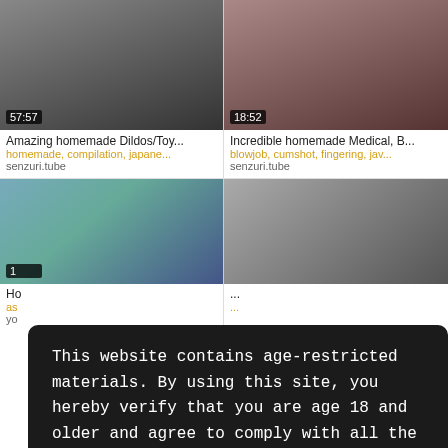[Figure (screenshot): Video thumbnail top-left with timestamp 57:57]
[Figure (screenshot): Video thumbnail top-right with timestamp 18:52]
Amazing homemade Dildos/Toy...
Incredible homemade Medical, B...
homemade, compilation, japane...
blowjob, cumshot, fingering, jav...
senzuri.tube
senzuri.tube
[Figure (screenshot): Video thumbnail bottom-left row2]
[Figure (screenshot): Video thumbnail bottom-right row2]
This website contains age-restricted materials. By using this site, you hereby verify that you are age 18 and older and agree to comply with all the Privacy Policy. We use cookies to provide you the best possible experience on our website and to monitor website traffic. Cookies Policy.